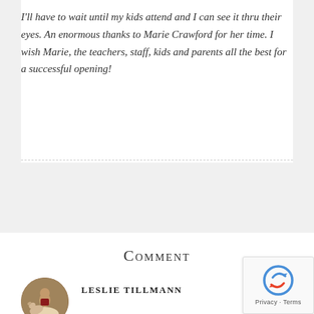I'll have to wait until my kids attend and I can see it thru their eyes. An enormous thanks to Marie Crawford for her time. I wish Marie, the teachers, staff, kids and parents all the best for a successful opening!
Comment
Leslie Tillmann
[Figure (photo): Circular avatar photo of Leslie Tillmann, a person on horseback]
[Figure (other): reCAPTCHA widget with Privacy - Terms text]